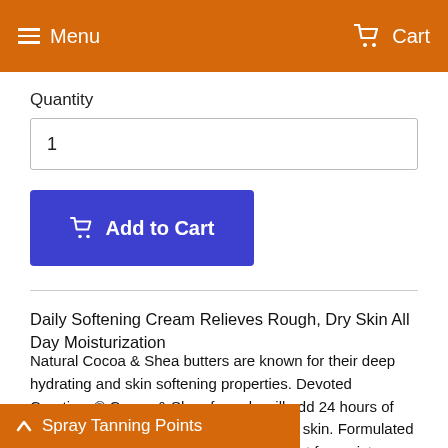Menu   Cart
Quantity
1
Add to Cart
Daily Softening Cream Relieves Rough, Dry Skin All Day Moisturization
Natural Cocoa & Shea butters are known for their deep hydrating and skin softening properties. Devoted Creations® Cocoa & Shea formula will add 24 hours of moisture even to the driest and roughest skin. Formulated for everyday use, Cocoa & Shea is a must for moisture.
Spray Tanning Points